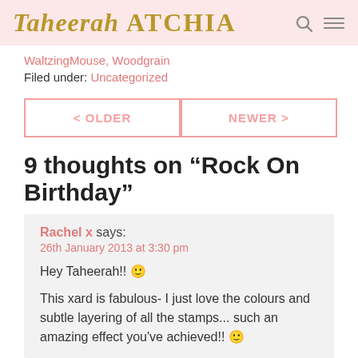Taheerah ATCHIA
WaltzingMouse, Woodgrain
Filed under: Uncategorized
< OLDER
NEWER >
9 thoughts on “Rock On Birthday”
Rachel x says:
26th January 2013 at 3:30 pm

Hey Taheerah!! 🙂

This xard is fabulous- I just love the colours and subtle layering of all the stamps... such an amazing effect you've achieved!! 🙂